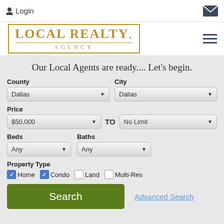Login
[Figure (logo): Local Realty Agency logo in gold serif font with rectangular border]
Our Local Agents are ready.... Let's begin.
County: Dallas | City: Dallas
Price: $50,000 TO No Limit
Beds: Any | Baths: Any
Property Type: Home (checked), Condo (checked), Land (unchecked), Multi-Res (unchecked)
Search | Advanced Search